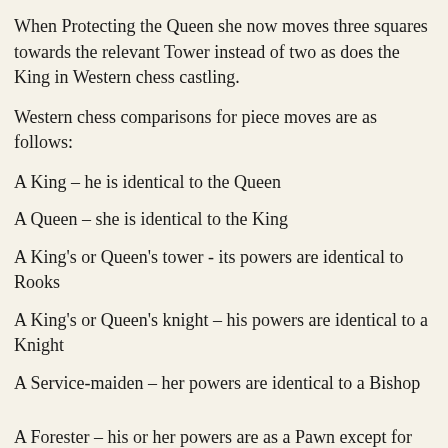When Protecting the Queen she now moves three squares towards the relevant Tower instead of two as does the King in Western chess castling.
Western chess comparisons for piece moves are as follows:
A King – he is identical to the Queen
A Queen – she is identical to the King
A King's or Queen's tower - its powers are identical to Rooks
A King's or Queen's knight – his powers are identical to a Knight
A Service-maiden – her powers are identical to a Bishop
A Forester – his or her powers are as a Pawn except for when promoting on reaching their end rank. Alternately placed Foresters with above/side (18 to 21...)